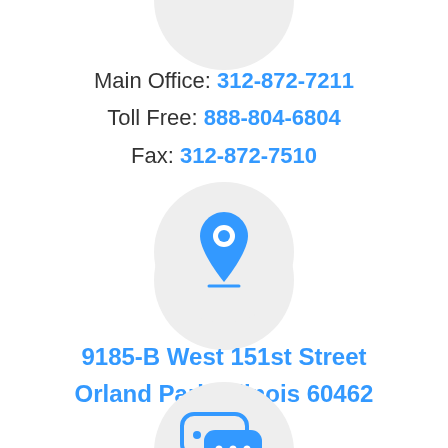[Figure (illustration): Partial gray circle at top (cropped), representing a phone/contact icon background]
Main Office: 312-872-7211
Toll Free: 888-804-6804
Fax: 312-872-7510
[Figure (illustration): Gray circle with blue map location pin icon inside]
9185-B West 151st Street
Orland Park, Illinois 60462
[Figure (illustration): Gray circle with blue speech/chat bubble icon inside (partially cropped at bottom)]